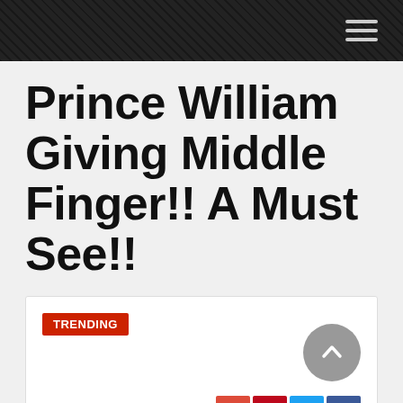Prince William Giving Middle Finger!! A Must See!!
[Figure (screenshot): White card with TRENDING badge in red, a grey circular scroll-to-top button with upward chevron, and four social media share icons (Google+, Pinterest, Twitter, Facebook) at bottom right]